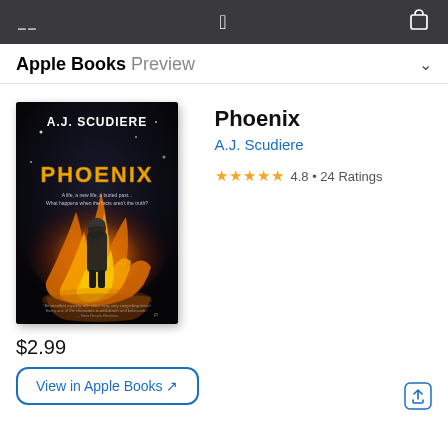Apple Books Preview
[Figure (photo): Book cover of 'Phoenix' by A.J. Scudiere, showing a firefighter standing in flames with golden fire reflections and the author name at the top.]
Phoenix
A.J. Scudiere
4.8 • 24 Ratings
$2.99
View in Apple Books ↗